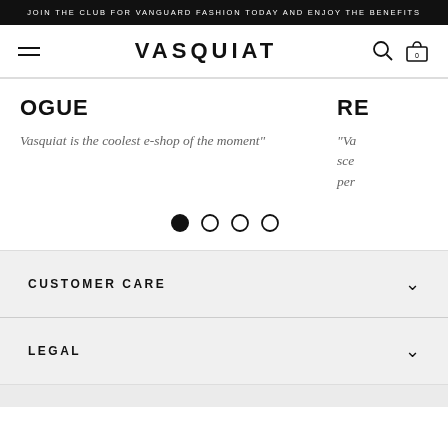JOIN THE CLUB FOR VANGUARD FASHION TODAY AND ENJOY THE BENEFITS
VASQUIAT
OGUE
Vasquiat is the coolest e-shop of the moment"
RE
"Va sce per
[Figure (other): Carousel pagination dots: one filled black dot and three empty circle dots]
CUSTOMER CARE
LEGAL